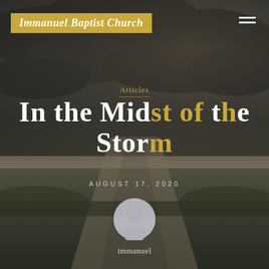Immanuel Baptist Church
Articles
In the Midst of the Storm
AUGUST 17, 2020
[Figure (photo): User avatar/profile icon circle]
immanuel